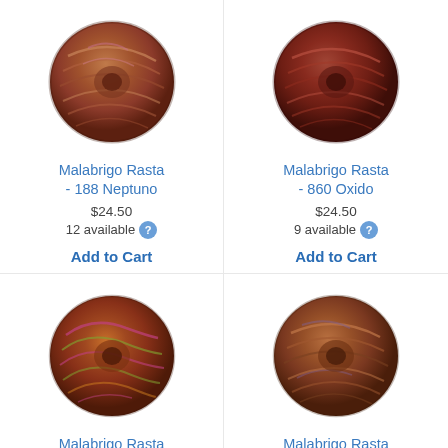[Figure (photo): Skein of Malabrigo Rasta yarn in color 188 Neptuno - warm brown and pink tones]
Malabrigo Rasta - 188 Neptuno
$24.50
12 available
Add to Cart
[Figure (photo): Skein of Malabrigo Rasta yarn in color 860 Oxido - dark red/rust tones]
Malabrigo Rasta - 860 Oxido
$24.50
9 available
Add to Cart
[Figure (photo): Skein of Malabrigo Rasta yarn in color 886 Diana - multicolor pink, green, orange tones]
Malabrigo Rasta - 886 Diana
$24.50
10 available
[Figure (photo): Skein of Malabrigo Rasta yarn in color 862 Piedras - warm brown, orange, purple tones]
Malabrigo Rasta - 862 Piedras
$24.50
5 available